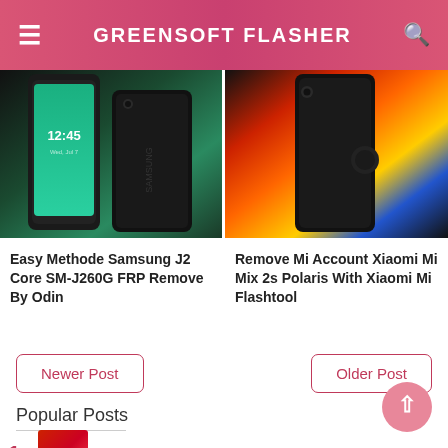GREENSOFT FLASHER
[Figure (photo): Samsung smartphone showing 12:45 on screen against teal/green gradient background]
[Figure (photo): Xiaomi Mi Mix 2s smartphone with colorful orange, red, blue gradient background]
Easy Methode Samsung J2 Core SM-J260G FRP Remove By Odin
Remove Mi Account Xiaomi Mi Mix 2s Polaris With Xiaomi Mi Flashtool
Newer Post
Older Post
Popular Posts
HOW TO ROOT SAMSUNG A21s (